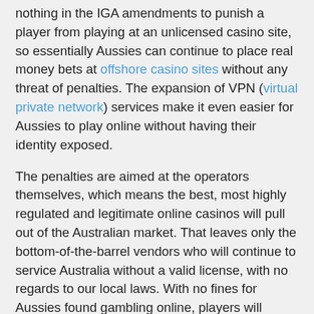nothing in the IGA amendments to punish a player from playing at an unlicensed casino site, so essentially Aussies can continue to place real money bets at offshore casino sites without any threat of penalties. The expansion of VPN (virtual private network) services make it even easier for Aussies to play online without having their identity exposed.
The penalties are aimed at the operators themselves, which means the best, most highly regulated and legitimate online casinos will pull out of the Australian market. That leaves only the bottom-of-the-barrel vendors who will continue to service Australia without a valid license, with no regards to our local laws. With no fines for Aussies found gambling online, players will simply turn to these dodgy unlicensed casinos, where their security and privacy is not adequately protected and games and software are not properly regulated.
Senator David Levonhjelm has been openly opposed to